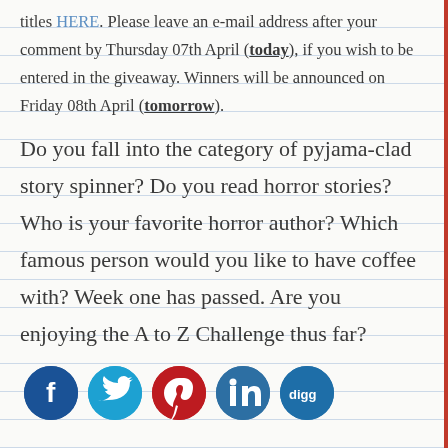titles HERE. Please leave an e-mail address after your comment by Thursday 07th April (today), if you wish to be entered in the giveaway. Winners will be announced on Friday 08th April (tomorrow).
Do you fall into the category of pyjama-clad story spinner? Do you read horror stories? Who is your favorite horror author? Which famous person would you like to have coffee with? Week one has passed. Are you enjoying the A to Z Challenge thus far?
[Figure (other): Social media share buttons: Facebook, Twitter, Pinterest, LinkedIn, Digg]